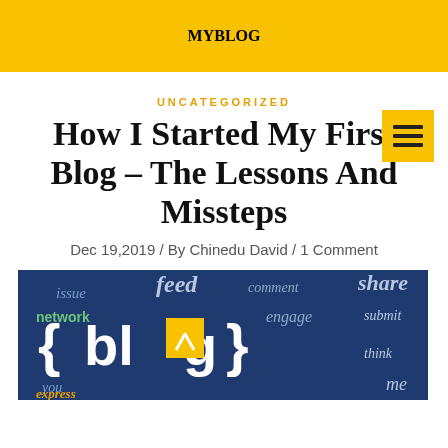MYBLOG
UNCATEGORIZED
How I Started My First Blog – The Lessons And Missteps
Dec 19,2019 / By Chinedu David / 1 Comment
[Figure (illustration): Dark blue background blog word cloud image showing words: issue, feed, comment, share, network, {blog}, engage, submit, you, think, express, me — with curly braces around the word 'blog' which is in large white text. A yellow square with upward chevron overlaps the center.]